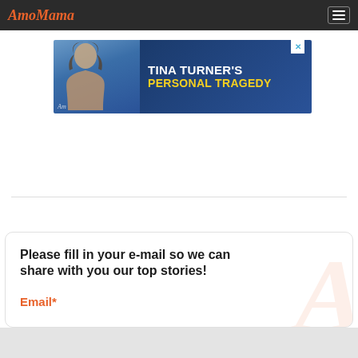AmoMama
[Figure (infographic): Advertisement banner for AmoMama featuring Tina Turner's Personal Tragedy with a photo of Tina Turner on the left and bold text on dark blue background]
Please fill in your e-mail so we can share with you our top stories!
Email*